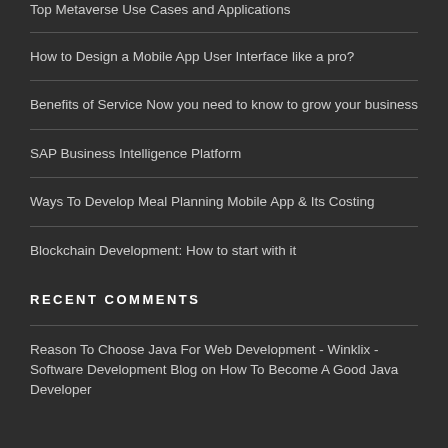Top Metaverse Use Cases and Applications
How to Design a Mobile App User Interface like a pro?
Benefits of Service Now you need to know to grow your business
SAP Business Intelligence Platform
Ways To Develop Meal Planning Mobile App & Its Costing
Blockchain Development: How to start with it
RECENT COMMENTS
Reason To Choose Java For Web Development - Winklix - Software Development Blog on How To Become A Good Java Developer